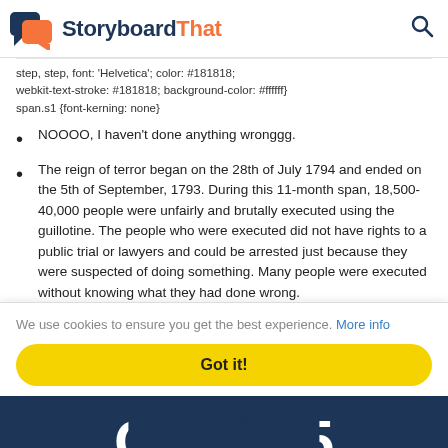StoryboardThat
step, step, font: 'Helvetica'; color: #181818; webkit-text-stroke: #181818; background-color: #ffffff} span.s1 {font-kerning: none}
NOOOO, I haven't done anything wronggg.
The reign of terror began on the 28th of July 1794 and ended on the 5th of September, 1793. During this 11-month span, 18,500-40,000 people were unfairly and brutally executed using the guillotine. The people who were executed did not have rights to a public trial or lawyers and could be arrested just because they were suspected of doing something. Many people were executed without knowing what they had done wrong.
We use cookies to ensure you get the best experience. More info
Got it!